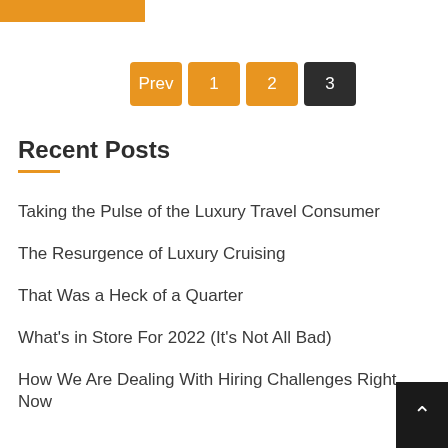[Figure (other): Orange horizontal bar at top of page]
Prev
1
2
3
Recent Posts
Taking the Pulse of the Luxury Travel Consumer
The Resurgence of Luxury Cruising
That Was a Heck of a Quarter
What's in Store For 2022 (It's Not All Bad)
How We Are Dealing With Hiring Challenges Right Now